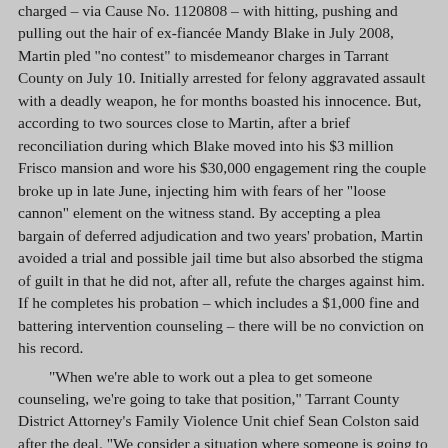charged – via Cause No. 1120808 – with hitting, pushing and pulling out the hair of ex-fiancée Mandy Blake in July 2008, Martin pled "no contest" to misdemeanor charges in Tarrant County on July 10. Initially arrested for felony aggravated assault with a deadly weapon, he for months boasted his innocence. But, according to two sources close to Martin, after a brief reconciliation during which Blake moved into his $3 million Frisco mansion and wore his $30,000 engagement ring the couple broke up in late June, injecting him with fears of her "loose cannon" element on the witness stand. By accepting a plea bargain of deferred adjudication and two years' probation, Martin avoided a trial and possible jail time but also absorbed the stigma of guilt in that he did not, after all, refute the charges against him. If he completes his probation – which includes a $1,000 fine and battering intervention counseling – there will be no conviction on his record.
"When we're able to work out a plea to get someone counseling, we're going to take that position," Tarrant County District Attorney's Family Violence Unit chief Sean Colston said after the deal. "We consider a situation where someone is going to be monitored for two years a good resolution."
But above all else, Russ Martin is an enigma...